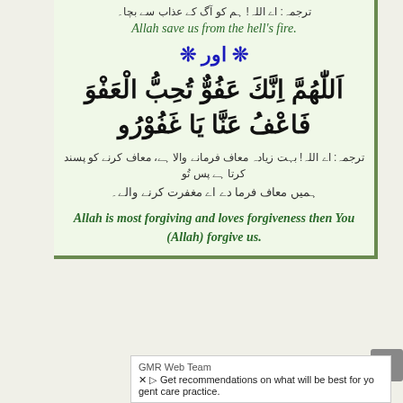ترجمہ: اے اللہ! ہم کو آگ کے عذاب سے بچا۔
Allah save us from the hell's fire.
﴿ اور ﴾
اَللّٰهُمَّ اِنَّكَ عَفُوٌّ تُحِبُّ الْعَفْوَ فَاعْفُ عَنَّا يَا غَفُوْرُو
ترجمہ: اے اللہ! بہت زیادہ معاف فرمانے والا ہے، معاف کرنے کو پسند کرتا ہے پس تُو
ہمیں معاف فرما دے اے مغفرت کرنے والے۔
Allah is most forgiving and loves forgiveness then You (Allah) forgive us.
GMR Web Team
Get recommendations on what will be best for yo gent care practice.